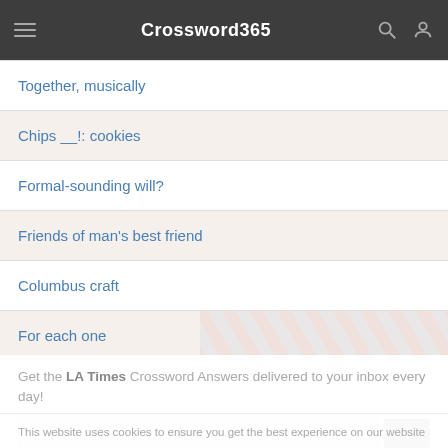Crossword365
Together, musically
Chips __!: cookies
Formal-sounding will?
Friends of man's best friend
Columbus craft
For each one
Get the LA Times Crossword Answers delivered to your inbox every day!
This website uses cookies to ensure you get the best experience on our website